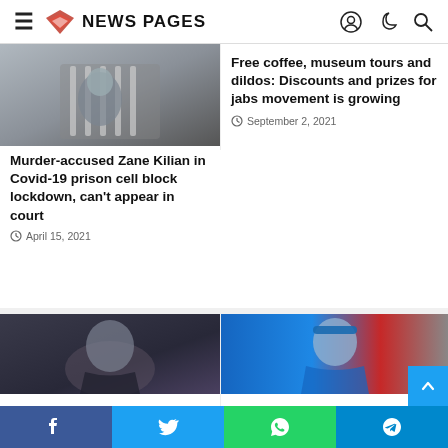NEWS PAGES
[Figure (photo): Person at what appears to be a prison or secure window, holding bars]
Murder-accused Zane Kilian in Covid-19 prison cell block lockdown, can't appear in court
April 15, 2021
Free coffee, museum tours and dildos: Discounts and prizes for jabs movement is growing
September 2, 2021
[Figure (photo): Middle-aged man in dark suit, close-up portrait]
Self-described Bitcoin creator must pay R1.6
[Figure (photo): Rugby player wearing blue jersey and headband]
STAT ATTACK | Forgotten Bok Marcell Coetzee ha